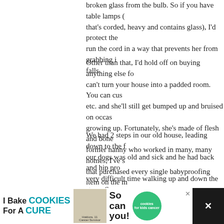broken glass from the bulb. So if you have table lamps (that's corded, heavy and contains glass), I'd protect the run the cord in a way that prevents her from grabbing it falls.
Other than that, I'd hold off on buying anything else for can't turn your house into a padded room. You can cush etc. and she'll still get bumped up and bruised on occasi growing up. Fortunately, she's made of flesh and bone a former nanny who worked in many, many homes, I've se that purchased every single babyproofing item on the m kids still managed to get hurt on occasion.) Just wait to see how she interacts with the home, then your needs. For instance....
We had 2 steps in our old house, leading down to the fa our dogs was old and sick and he had back and hip prob very difficult time walking up and down the steps. So w covered it with the same carpet as the surrounding roo that bad. Plus, he was in declining health — we knew he
[Figure (other): Advertisement banner: 'I Bake COOKIES For A CURE' with photo of Haldora age 11 Cancer Survivor, 'So can you!' text, cookies for kids cancer badge, and close/social media buttons]